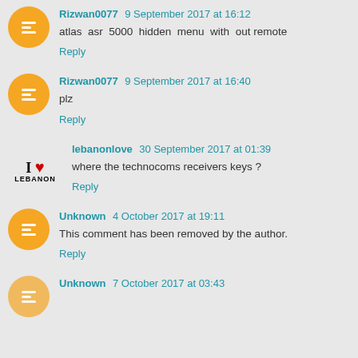Rizwan0077  9 September 2017 at 16:12
atlas asr 5000 hidden menu with out remote
Reply
Rizwan0077  9 September 2017 at 16:40
plz
Reply
lebanonlove  30 September 2017 at 01:39
where the technocoms receivers keys ?
Reply
Unknown  4 October 2017 at 19:11
This comment has been removed by the author.
Reply
Unknown  7 October 2017 at 03:43